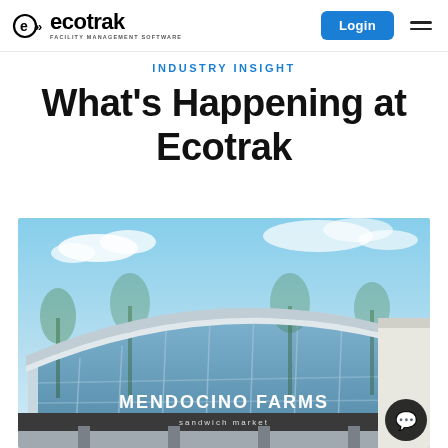ecotrak FACILITY MANAGEMENT SOFTWARE | Login
INDUSTRY INSIGHT
What's Happening at Ecotrak
[Figure (photo): Exterior of a Mendocino Farms sandwich market restaurant with large glass windows reflecting palm trees and blue sky. The storefront sign reads 'MENDOCINO FARMS sandwich market'.]